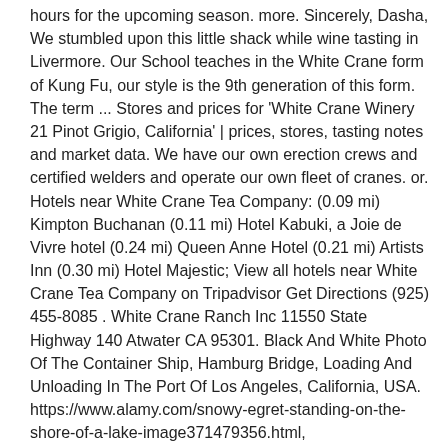hours for the upcoming season. more. Sincerely, Dasha, We stumbled upon this little shack while wine tasting in Livermore. Our School teaches in the White Crane form of Kung Fu, our style is the 9th generation of this form. The term ... Stores and prices for 'White Crane Winery 21 Pinot Grigio, California' | prices, stores, tasting notes and market data. We have our own erection crews and certified welders and operate our own fleet of cranes. or. Hotels near White Crane Tea Company: (0.09 mi) Kimpton Buchanan (0.11 mi) Hotel Kabuki, a Joie de Vivre hotel (0.24 mi) Queen Anne Hotel (0.21 mi) Artists Inn (0.30 mi) Hotel Majestic; View all hotels near White Crane Tea Company on Tripadvisor Get Directions (925) 455-8085 . White Crane Ranch Inc 11550 State Highway 140 Atwater CA 95301. Black And White Photo Of The Container Ship, Hamburg Bridge, Loading And Unloading In The Port Of Los Angeles, California, USA. https://www.alamy.com/snowy-egret-standing-on-the-shore-of-a-lake-image371479356.html, https://www.alamy.com/stock-photo-great-blue-heron-103556051.html, Snowy egret (Egretta thula) San Diego River, https://www.alamy.com/snowy-egret-egretta-thula-san-diego-river-image389688532.html, https://www.alamy.com/a-white-faced-ibisplegadis-chihiat-the-merced-national-wildlife-refuge-in-the-central-valley-of-california-usa-image221300118.html, https://www.alamy.com/windmill-image350200866.html